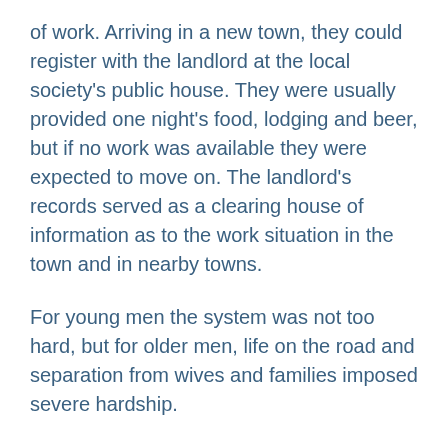of work. Arriving in a new town, they could register with the landlord at the local society's public house. They were usually provided one night's food, lodging and beer, but if no work was available they were expected to move on. The landlord's records served as a clearing house of information as to the work situation in the town and in nearby towns.
For young men the system was not too hard, but for older men, life on the road and separation from wives and families imposed severe hardship.
Strikes were a rarity throughout the 18th century because most of the industry was operating on a handicraft basis. One British historian was able to record only 433 strikes in all trades in all of Britain between 1717